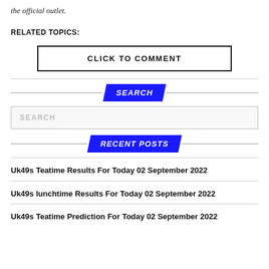the official outlet.
RELATED TOPICS:
CLICK TO COMMENT
SEARCH
SEARCH
RECENT POSTS
Uk49s Teatime Results For Today 02 September 2022
Uk49s lunchtime Results For Today 02 September 2022
Uk49s Teatime Prediction For Today 02 September 2022